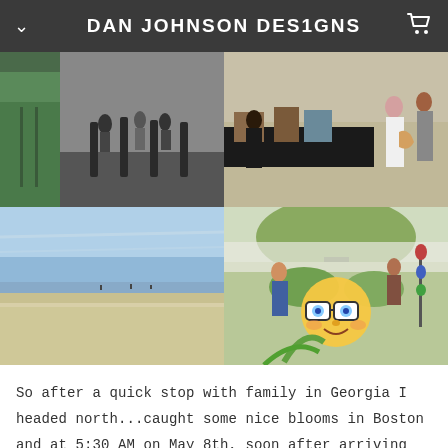DAN JOHNSON DESIGNS
[Figure (photo): People walking on a street/boardwalk area with poles and green walls]
[Figure (photo): Outdoor market/art show with people browsing tables with artwork and bags]
[Figure (photo): Sandy beach with blue sky and ocean in the distance]
[Figure (photo): Outdoor market with trees and people browsing crafts, with a nerd emoji face overlaid]
So after a quick stop with family in Georgia I headed north...caught some nice blooms in Boston and at 5:30 AM on May 8th, soon after arriving in Rangeley, it was Ice Out! Spring has sprung!
[Figure (photo): Person among green foliage/trees]
[Figure (photo): Pink flowering blossoms (magnolia or similar)]